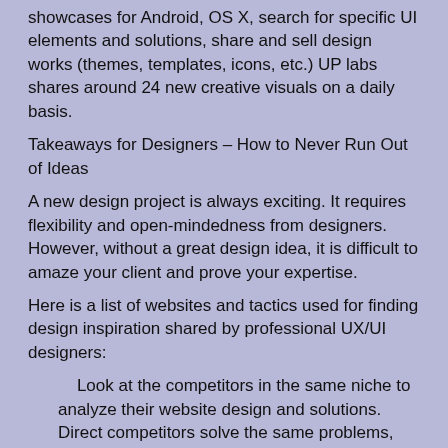showcases for Android, OS X, search for specific UI elements and solutions, share and sell design works (themes, templates, icons, etc.) UP labs shares around 24 new creative visuals on a daily basis.
Takeaways for Designers – How to Never Run Out of Ideas
A new design project is always exciting. It requires flexibility and open-mindedness from designers. However, without a great design idea, it is difficult to amaze your client and prove your expertise.
Here is a list of websites and tactics used for finding design inspiration shared by professional UX/UI designers:
Look at the competitors in the same niche to analyze their website design and solutions. Direct competitors solve the same problems, with the same value proposition for the same target group.
Look at companies with similar business models. For instance, you can check how the subscription model works at different websites in order to get ideas about UX/UI solutions for your project.
Get color match ideas at Adobe Color, AWSM Color on Instagram and Color Palette on Pinterest.
Search for multiple creative solutions at Dribbble, Muzli, Instagram, Pinterest.
Well-established online platforms: Vietnam Design,